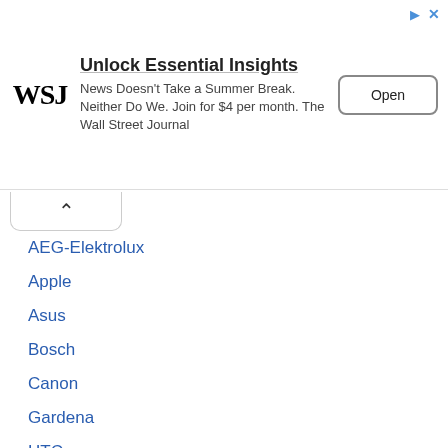[Figure (screenshot): WSJ advertisement banner: Unlock Essential Insights. News Doesn't Take a Summer Break. Neither Do We. Join for $4 per month. The Wall Street Journal. Open button.]
AEG-Elektrolux
Apple
Asus
Bosch
Canon
Gardena
HTC
Huawei
Husqvarna
MSI